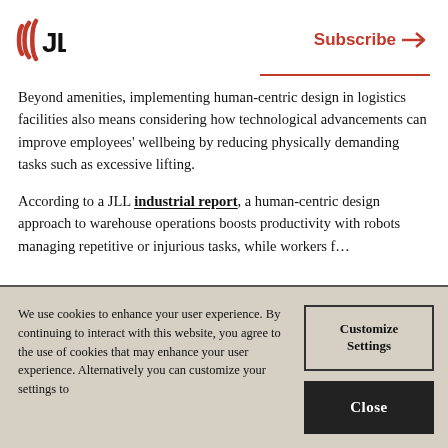[Figure (logo): JLL logo — red circular wave mark followed by bold JLL text]
Subscribe →
Beyond amenities, implementing human-centric design in logistics facilities also means considering how technological advancements can improve employees' wellbeing by reducing physically demanding tasks such as excessive lifting.
According to a JLL industrial report, a human-centric design approach to warehouse operations boosts productivity with robots managing repetitive or injurious tasks, while workers f…
We use cookies to enhance your user experience. By continuing to interact with this website, you agree to the use of cookies that may enhance your user experience. Alternatively you can customize your settings to